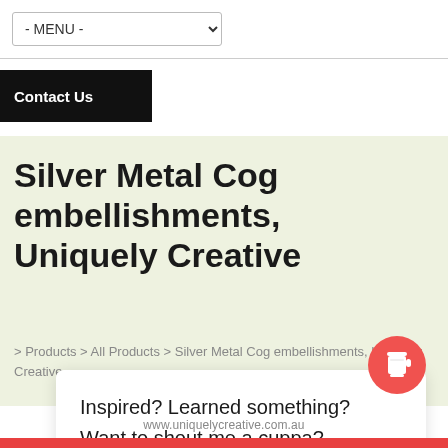- MENU -
Contact Us
Silver Metal Cog embellishments, Uniquely Creative
> Products > All Products > Silver Metal Cog embellishments, Uniquely Creative
Inspired? Learned something? Want to shout me a cuppa? Click here
www.uniquelycreative.com.au